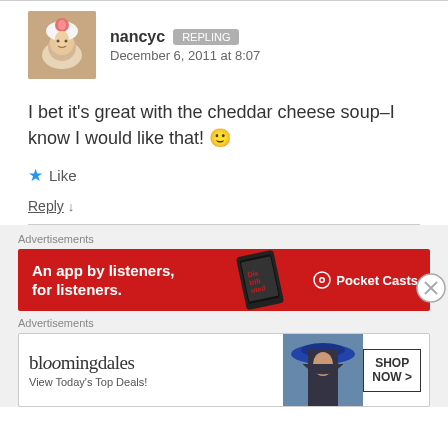nancyc  December 6, 2011 at 8:07
I bet it's great with the cheddar cheese soup–I know I would like that! 🙂
★ Like
Reply ↓
[Figure (screenshot): Pocket Casts advertisement banner: red background, text 'An app by listeners, for listeners.' with Pocket Casts logo]
[Figure (screenshot): Bloomingdale's advertisement: logo, 'View Today's Top Deals!' with woman in hat and SHOP NOW button]